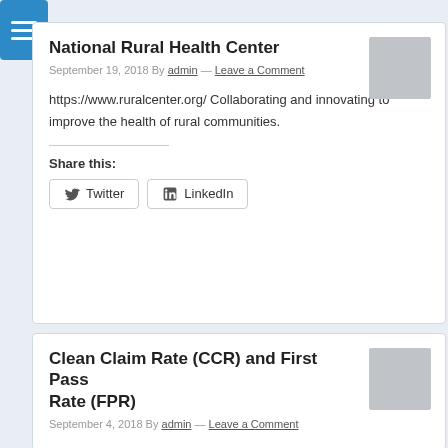[Figure (other): Blue hamburger menu icon button]
National Rural Health Center
September 19, 2018 By admin — Leave a Comment
https://www.ruralcenter.org/ Collaborating and innovating to improve the health of rural communities.
Share this:
Twitter  LinkedIn
Clean Claim Rate (CCR) and First Pass Rate (FPR)
September 4, 2018 By admin — Leave a Comment